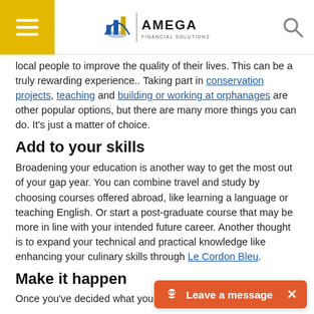AMEGA FINANCIAL SOLUTIONS
local people to improve the quality of their lives. This can be a truly rewarding experience.. Taking part in conservation projects, teaching and building or working at orphanages are other popular options, but there are many more things you can do. It's just a matter of choice.
Add to your skills
Broadening your education is another way to get the most out of your gap year. You can combine travel and study by choosing courses offered abroad, like learning a language or teaching English. Or start a post-graduate course that may be more in line with your intended future career. Another thought is to expand your technical and practical knowledge like enhancing your culinary skills through Le Cordon Bleu.
Make it happen
Once you've decided what you w…